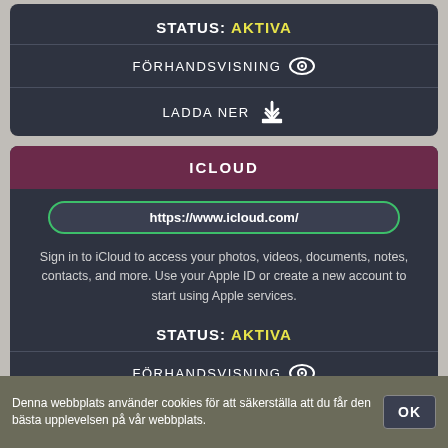STATUS: AKTIVA
FÖRHANDSVISNING
LADDA NER
ICLOUD
https://www.icloud.com/
Sign in to iCloud to access your photos, videos, documents, notes, contacts, and more. Use your Apple ID or create a new account to start using Apple services.
STATUS: AKTIVA
FÖRHANDSVISNING
Denna webbplats använder cookies för att säkerställa att du får den bästa upplevelsen på vår webbplats.